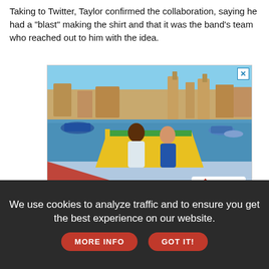Taking to Twitter, Taylor confirmed the collaboration, saying he had a "blast" making the shirt and that it was the band's team who reached out to him with the idea.
[Figure (photo): Advertisement photo showing two women sitting in a colorful traditional Maltese boat (dghajsa) in a harbor with buildings and other boats in the background. A red triangle overlay at the bottom left shows the word MORE in bold italic white text. Bottom right shows a VisitMalta logo.]
We use cookies to analyze traffic and to ensure you get the best experience on our website.
MORE INFO
GOT IT!